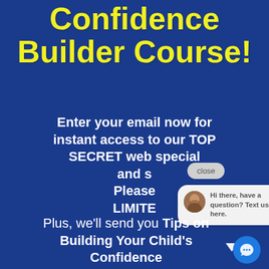Confidence Builder Course!
Enter your email now for instant access to our TOP SECRET web special and s... Please... LIMITE...
[Figure (screenshot): Chat popup with close button and a chat bubble showing a bearded man avatar and text: 'Hi there, have a question? Text us here.' with a blue chat button in the corner.]
Plus, we'll send you Tips on Building Your Child's Confidence